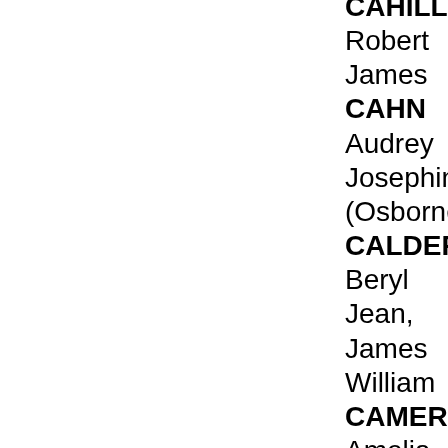CAHILL Robert James
CAHN Audrey Josephine (Osborne)
CALDER Beryl Jean, James William
CAMERON Amelia Emily Jessie (Pepper)
CAMERON Ewen Hugh, John Donald, Evelyn Florence, Agnes Bell
CAMERON Ewen, Mary, Allan
CAMERON Ewen
CAMERON Flora May
CAMERON Gordon Douglas
CAMERON Ian Archibald
CAMERON Kenneth Jack
CAMILLERI Beverley Veronica (Fyfe)
CAMPBELL Alan James, Melva Mary